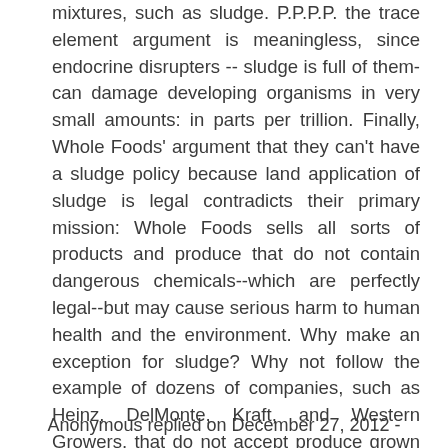mixtures, such as sludge. P.P.P.P. the trace element argument is meaningless, since endocrine disrupters -- sludge is full of them- can damage developing organisms in very small amounts: in parts per trillion. Finally, Whole Foods' argument that they can't have a sludge policy because land application of sludge is legal contradicts their primary mission: Whole Foods sells all sorts of products and produce that do not contain dangerous chemicals--which are perfectly legal--but may cause serious harm to human health and the environment. Why make an exception for sludge? Why not follow the example of dozens of companies, such as Heinz, DelMonte, Kraft, and Western Growers, that do not accept produce grown on fields treated with sewage sludge? For more information visit www.sludgefacts.org
reply
Anonymous replied on December 27, 2012 -